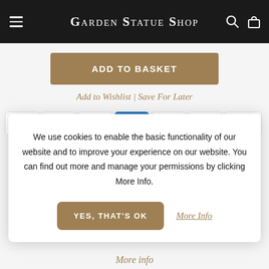Garden Statue Shop
ADD TO BASKET
Add to Wishlist | Save For Later
[Figure (other): Payment method icons row: VISA, Mastercard, Maestro, AMEX, PayPal, G Pay, Apple Pay]
We use cookies to enable the basic functionality of our website and to improve your experience on our website. You can find out more and manage your permissions by clicking More Info.
YES, THAT'S OK
More Info
More info